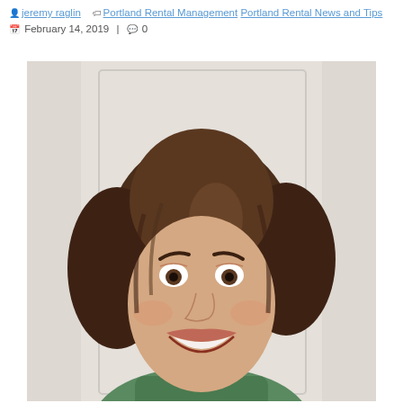jeremy raglin  Portland Rental Management  Portland Rental News and Tips  February 14, 2019  |  0
[Figure (photo): Portrait photo of a smiling young woman with curly brown hair, wearing a green patterned top, photographed against a white door/wall background.]